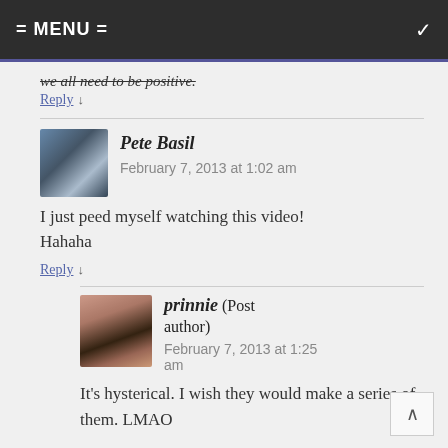= MENU =
we all need to be positive.
Reply ↓
Pete Basil
February 7, 2013 at 1:02 am
I just peed myself watching this video! Hahaha
Reply ↓
prinnie (Post author)
February 7, 2013 at 1:25 am
It's hysterical. I wish they would make a series of them. LMAO